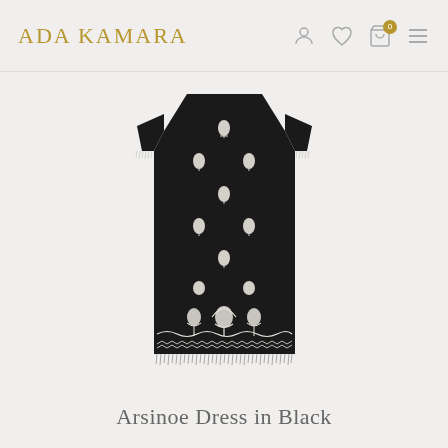ADA KAMARA
[Figure (photo): A black embroidered short-sleeve midi dress (Arsinoe Dress in Black) shown on a white background. The dress features white floral/botanical embroidery motifs scattered across the body, a decorative embroidered border along the hem, and fringe/tassel trim at the sleeves and hem edge.]
Arsinoe Dress in Black